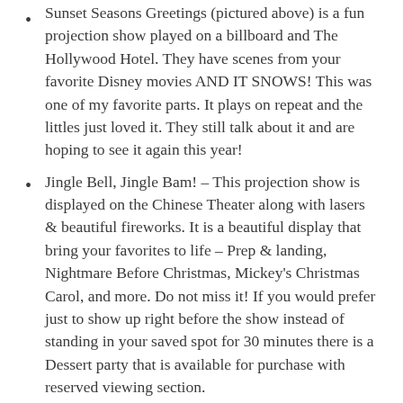Sunset Seasons Greetings (pictured above) is a fun projection show played on a billboard and The Hollywood Hotel. They have scenes from your favorite Disney movies AND IT SNOWS! This was one of my favorite parts. It plays on repeat and the littles just loved it. They still talk about it and are hoping to see it again this year!
Jingle Bell, Jingle Bam! – This projection show is displayed on the Chinese Theater along with lasers & beautiful fireworks. It is a beautiful display that bring your favorites to life – Prep & landing, Nightmare Before Christmas, Mickey's Christmas Carol, and more. Do not miss it! If you would prefer just to show up right before the show instead of standing in your saved spot for 30 minutes there is a Dessert party that is available for purchase with reserved viewing section.